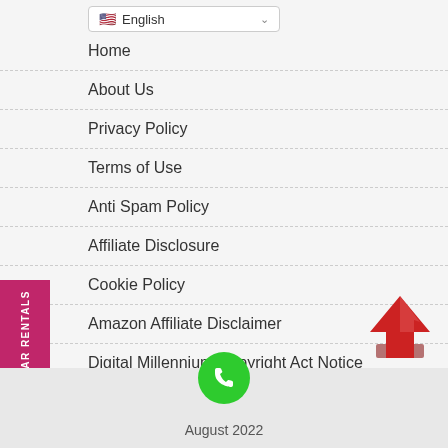English (language selector dropdown)
Home
About Us
Privacy Policy
Terms of Use
Anti Spam Policy
Affiliate Disclosure
Cookie Policy
Amazon Affiliate Disclaimer
Digital Millennium Copyright Act Notice
-CHEAP CAR RENTALS
August 2022